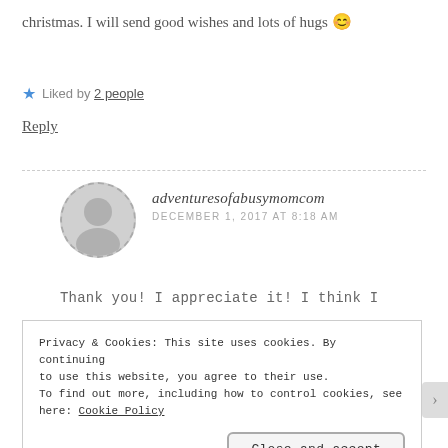christmas. I will send good wishes and lots of hugs 😊
★ Liked by 2 people
Reply
adventuresofabusymomcom
DECEMBER 1, 2017 AT 8:18 AM
Thank you! I appreciate it! I think I
Privacy & Cookies: This site uses cookies. By continuing to use this website, you agree to their use.
To find out more, including how to control cookies, see here: Cookie Policy
Close and accept